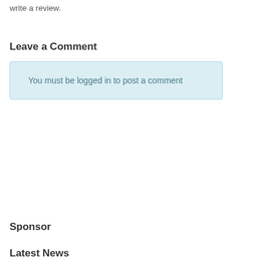write a review.
Leave a Comment
You must be logged in to post a comment
Sponsor
Latest News